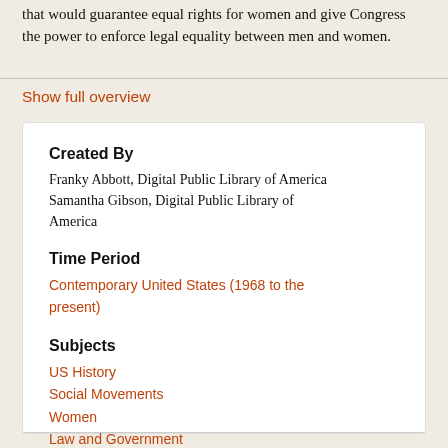that would guarantee equal rights for women and give Congress the power to enforce legal equality between men and women.
Show full overview
Created By
Franky Abbott, Digital Public Library of America
Samantha Gibson, Digital Public Library of America
Time Period
Contemporary United States (1968 to the present)
Subjects
US History
Social Movements
Women
Law and Government